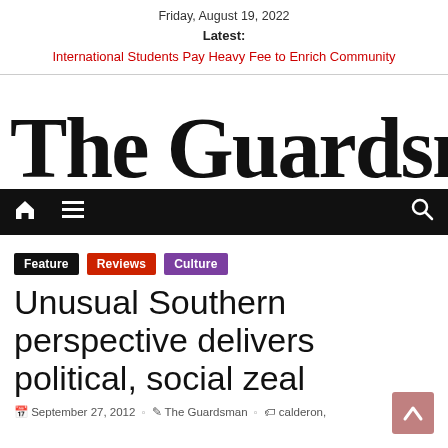Friday, August 19, 2022
Latest:
International Students Pay Heavy Fee to Enrich Community
The Guardsman
[Figure (other): Navigation bar with home icon, hamburger menu icon, and search icon on dark background]
Feature
Reviews
Culture
Unusual Southern perspective delivers political, social zeal
September 27, 2012  The Guardsman  calderon,